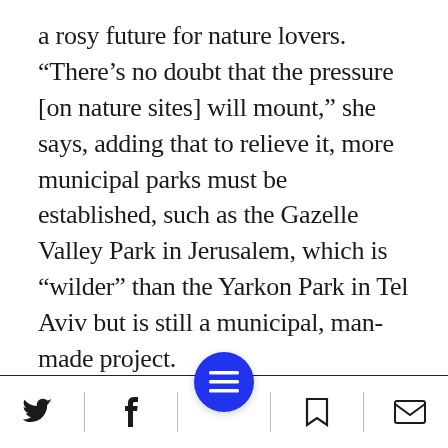a rosy future for nature lovers. “There’s no doubt that the pressure [on nature sites] will mount,” she says, adding that to relieve it, more municipal parks must be established, such as the Gazelle Valley Park in Jerusalem, which is “wilder” than the Yarkon Park in Tel Aviv but is still a municipal, man-made project.
“Our vision is to establish such sites in every city,” she says. “In Haifa one could relatively easily arrange places in which to experience nature in the numerous wadis around the city.
Social share bar with Twitter, Facebook, menu, bookmark, and email icons